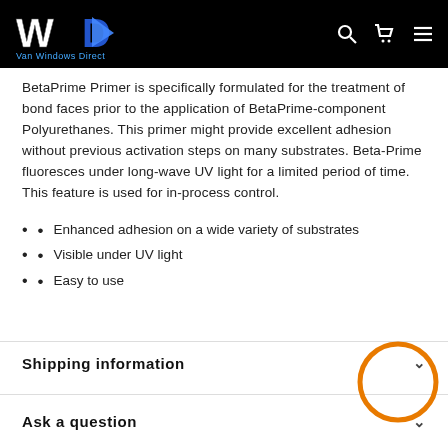Van Windows Direct — navigation header with logo, search, cart, and menu icons
BetaPrime Primer is specifically formulated for the treatment of bond faces prior to the application of BetaPrime-component Polyurethanes. This primer might provide excellent adhesion without previous activation steps on many substrates. Beta-Prime fluoresces under long-wave UV light for a limited period of time. This feature is used for in-process control.
Enhanced adhesion on a wide variety of substrates
Visible under UV light
Easy to use
Shipping information
Ask a question